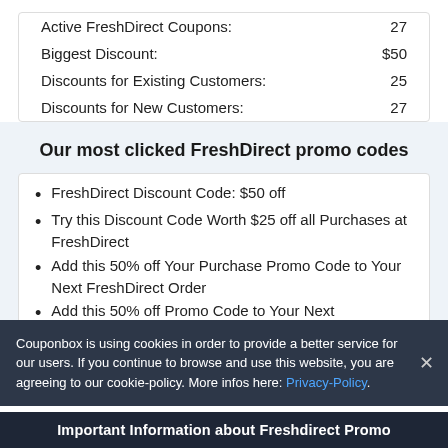|  |  |
| --- | --- |
| Active FreshDirect Coupons: | 27 |
| Biggest Discount: | $50 |
| Discounts for Existing Customers: | 25 |
| Discounts for New Customers: | 27 |
Our most clicked FreshDirect promo codes
FreshDirect Discount Code: $50 off
Try this Discount Code Worth $25 off all Purchases at FreshDirect
Add this 50% off Your Purchase Promo Code to Your Next FreshDirect Order
Add this 50% off Promo Code to Your Next FreshDirect Order
This FreshDirect Voucher Code saves you $25 off
Couponbox is using cookies in order to provide a better service for our users. If you continue to browse and use this website, you are agreeing to our cookie-policy. More infos here: Privacy-Policy.
Important Information about Freshdirect Promo